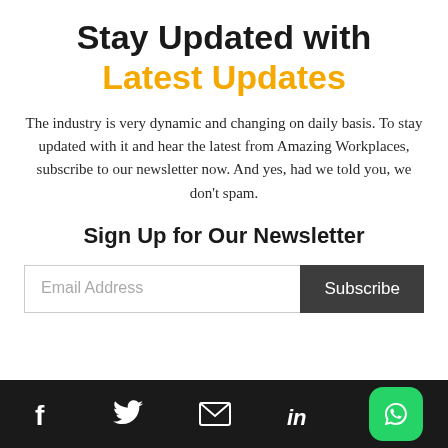Stay Updated with Latest Updates
The industry is very dynamic and changing on daily basis. To stay updated with it and hear the latest from Amazing Workplaces, subscribe to our newsletter now. And yes, had we told you, we don't spam.
Sign Up for Our Newsletter
[Figure (infographic): Email subscription form with email address input field and Subscribe button]
Social media icons: Facebook, Twitter, Email, LinkedIn, WhatsApp